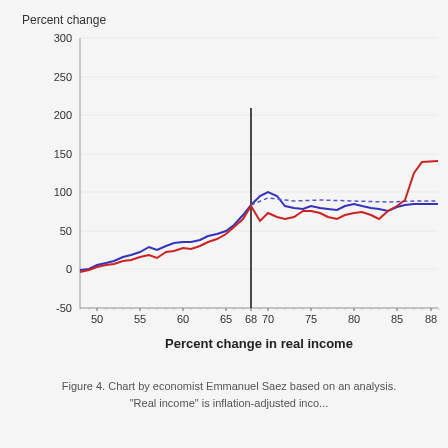[Figure (continuous-plot): Line chart showing two lines (blue and red/dark red) plotting percent change (y-axis, -50 to 300) against income percentile (x-axis, ~48 to ~88+). A vertical black line is drawn at approximately the 68th percentile. Both lines start near 0 at the 48th percentile and rise, with the blue line generally slightly above the red line for lower percentiles, converging around 80-85 at the 68th percentile vertical line. After the vertical line, both lines fluctuate around 80-100, with a dotted blue trend line continuing. The red line spikes sharply upward near the right edge, reaching ~130-150.]
Figure 4. Chart by economist Emmanuel Saez based on an analysis. "Real income" is inflation-adjusted inco...